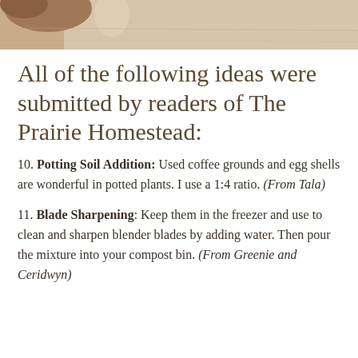[Figure (photo): Partial photo showing hands or eggs against a light textured surface, cropped at the top of the page.]
All of the following ideas were submitted by readers of The Prairie Homestead:
10. Potting Soil Addition: Used coffee grounds and egg shells are wonderful in potted plants. I use a 1:4 ratio. (From Tala)
11. Blade Sharpening: Keep them in the freezer and use to clean and sharpen blender blades by adding water. Then pour the mixture into your compost bin. (From Greenie and Ceridwyn)